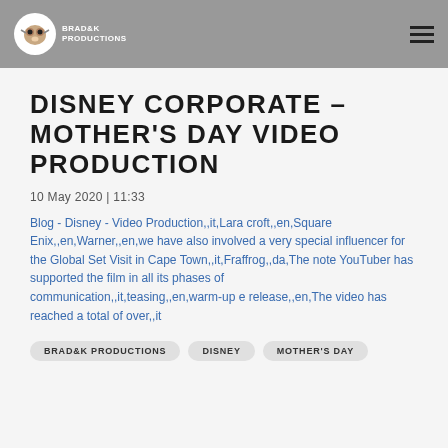BRAD&K PRODUCTIONS
DISNEY CORPORATE – MOTHER'S DAY VIDEO PRODUCTION
10 May 2020 | 11:33
Blog - Disney - Video Production,,it,Lara croft,,en,Square Enix,,en,Warner,,en,we have also involved a very special influencer for the Global Set Visit in Cape Town,,it,Fraffrog,,da,The note YouTuber has supported the film in all its phases of communication,,it,teasing,,en,warm-up e release,,en,The video has reached a total of over,,it
BRAD&K PRODUCTIONS
DISNEY
MOTHER'S DAY